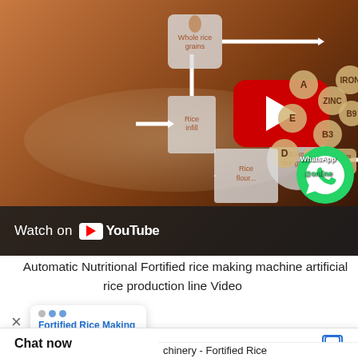[Figure (screenshot): Screenshot of a YouTube video thumbnail showing an automatic nutritional fortified rice making machine / artificial rice production line diagram. Contains a diagram with labeled elements: Rice infill, Whole rice grains, Broken rice grains, Rice flour, Adding vitamins and minerals (A, E, D, ZINC, IRON, B3, B9 circles). A large red YouTube play button is visible. A WhatsApp online button appears at the bottom right. A 'Watch on YouTube' bar is at the bottom.]
Automatic Nutritional Fortified rice making machine artificial rice production line Video
×
[Figure (screenshot): Small white popup chat box showing dots animation and blue text 'Fortified Rice Making Machine' with partial text below.]
Chat now
chinery - Fortified Rice